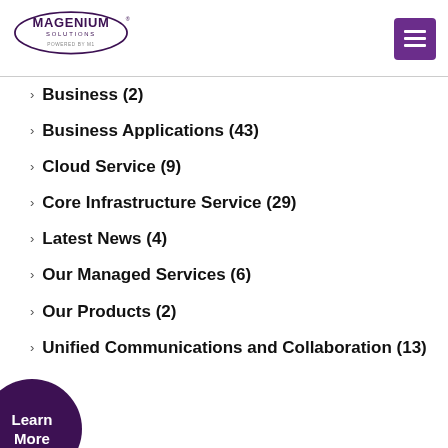Magenium Solutions — powered by M1 — navigation menu button
Business (2)
Business Applications (43)
Cloud Service (9)
Core Infrastructure Service (29)
Latest News (4)
Our Managed Services (6)
Our Products (2)
Unified Communications and Collaboration (13)